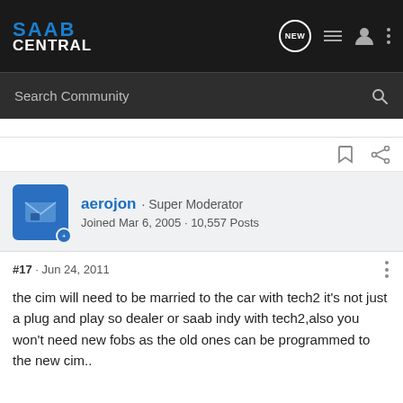SAAB CENTRAL
Search Community
aerojon · Super Moderator
Joined Mar 6, 2005 · 10,557 Posts
#17 · Jun 24, 2011
the cim will need to be married to the car with tech2 it's not just a plug and play so dealer or saab indy with tech2,also you won't need new fobs as the old ones can be programmed to the new cim..